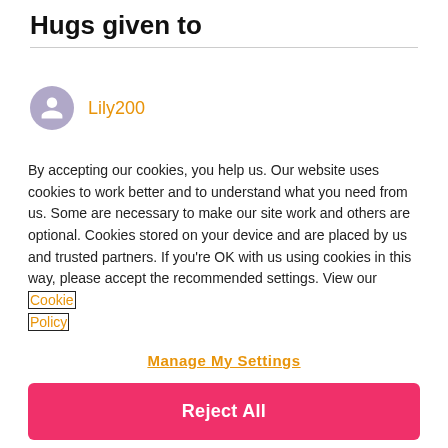Hugs given to
Lily200
By accepting our cookies, you help us. Our website uses cookies to work better and to understand what you need from us. Some are necessary to make our site work and others are optional. Cookies stored on your device and are placed by us and trusted partners. If you're OK with us using cookies in this way, please accept the recommended settings. View our Cookie Policy
Manage My Settings
Reject All
Accept All Cookies